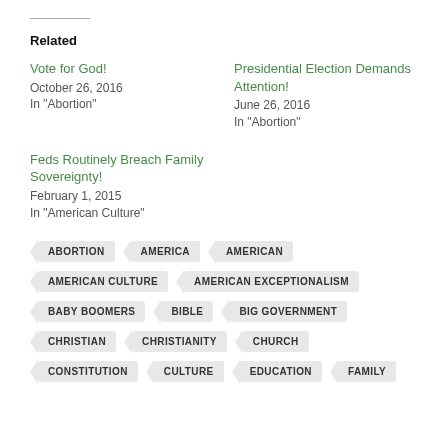Related
Vote for God!
October 26, 2016
In "Abortion"
Presidential Election Demands Attention!
June 26, 2016
In "Abortion"
Feds Routinely Breach Family Sovereignty!
February 1, 2015
In "American Culture"
ABORTION
AMERICA
AMERICAN
AMERICAN CULTURE
AMERICAN EXCEPTIONALISM
BABY BOOMERS
BIBLE
BIG GOVERNMENT
CHRISTIAN
CHRISTIANITY
CHURCH
CONSTITUTION
CULTURE
EDUCATION
FAMILY